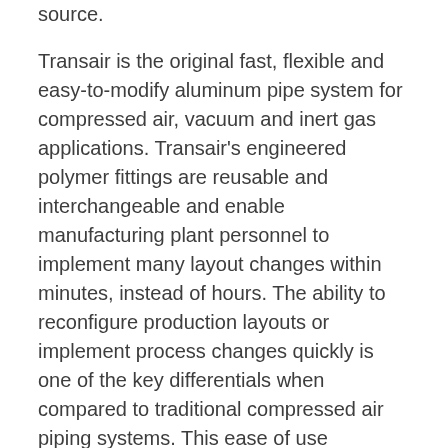source.
Transair is the original fast, flexible and easy-to-modify aluminum pipe system for compressed air, vacuum and inert gas applications. Transair's engineered polymer fittings are reusable and interchangeable and enable manufacturing plant personnel to implement many layout changes within minutes, instead of hours. The ability to reconfigure production layouts or implement process changes quickly is one of the key differentials when compared to traditional compressed air piping systems. This ease of use minimizes downtime and increases plant productivity and efficiency. Transair fittings are simply pushed or bolted together, which enables disassembly when required unlike